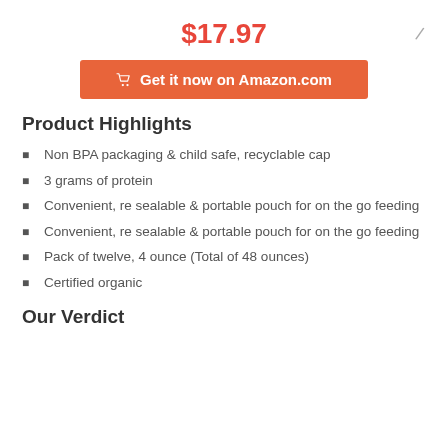$17.97
Get it now on Amazon.com
Product Highlights
Non BPA packaging & child safe, recyclable cap
3 grams of protein
Convenient, re sealable & portable pouch for on the go feeding
Convenient, re sealable & portable pouch for on the go feeding
Pack of twelve, 4 ounce (Total of 48 ounces)
Certified organic
Our Verdict